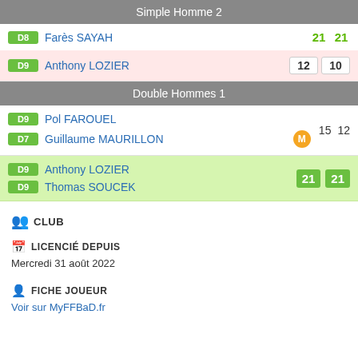Simple Homme 2
| Badge | Player | Score1 | Score2 |
| --- | --- | --- | --- |
| D8 | Farès SAYAH | 21 | 21 |
| D9 | Anthony LOZIER | 12 | 10 |
Double Hommes 1
| Badge | Player | Score1 | Score2 |
| --- | --- | --- | --- |
| D9 | Pol FAROUEL | 15 | 12 |
| D7 | Guillaume MAURILLON (M) |  |  |
| D9 | Anthony LOZIER | 21 | 21 |
| D9 | Thomas SOUCEK |  |  |
🏆 CLUB
📅 LICENCIÉ DEPUIS
Mercredi 31 août 2022
👤 FICHE JOUEUR
Voir sur MyFFBaD.fr